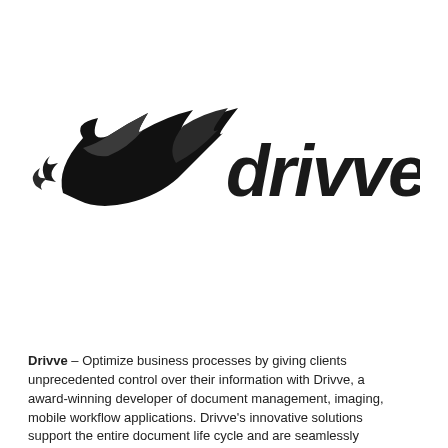[Figure (logo): Drivve company logo: stylized black flame/wing symbol on the left, and the word 'drivve' in bold dark italic lettering on the right]
Drivve – Optimize business processes by giving clients unprecedented control over their information with Drivve, a award-winning developer of document management, imaging, mobile workflow applications. Drivve's innovative solutions support the entire document life cycle and are seamlessly integrated with the control panel of enabled devices.